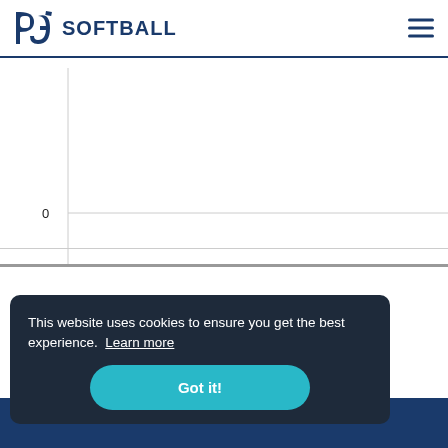PG SOFTBALL
[Figure (continuous-plot): Partial chart with y-axis label 0 and a horizontal gridline, rest of chart not visible]
This website uses cookies to ensure you get the best experience. Learn more
Got it!